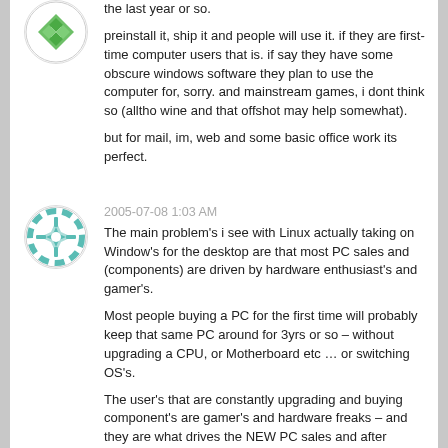the last year or so.
preinstall it, ship it and people will use it. if they are first-time computer users that is. if say they have some obscure windows software they plan to use the computer for, sorry. and mainstream games, i dont think so (alltho wine and that offshot may help somewhat).
but for mail, im, web and some basic office work its perfect.
2005-07-08 1:03 AM
The main problem's i see with Linux actually taking on Window's for the desktop are that most PC sales and (components) are driven by hardware enthusiast's and gamer's.
Most people buying a PC for the first time will probably keep that same PC around for 3yrs or so – without upgrading a CPU, or Motherboard etc … or switching OS's.
The user's that are constantly upgrading and buying component's are gamer's and hardware freaks – and they are what drives the NEW PC sales and after market components – not Mom & Dad that buy a new PC once every 5yrs.
Unfortunantly detection of the cutting edge hardware and gaming are 2 things that Linux stinks at – throw in terrible sound issues, no DVD playback, and you have an OS that is clearly not ready for anything but a work environment. (IMO)
2005-07-08 1:09 AM
ma_d